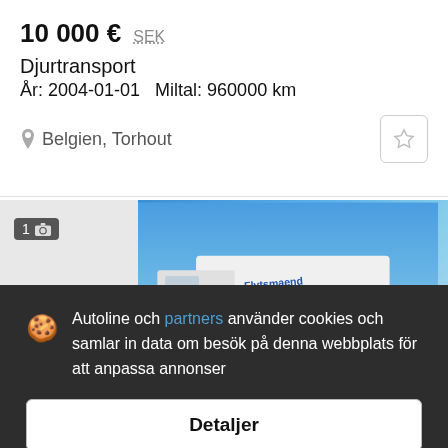10 000 € SEK
Djurtransport
År: 2004-01-01  Miltal: 960000 km
Belgien, Torhout
[Figure (photo): Partial view of a truck or vehicle with blue sky background and 'Flytsmænd' text visible. Image partially obscured by dark overlay.]
Autoline och partners använder cookies och samlar in data om besök på denna webbplats för att anpassa annonser
Detaljer
Acceptera och stäng